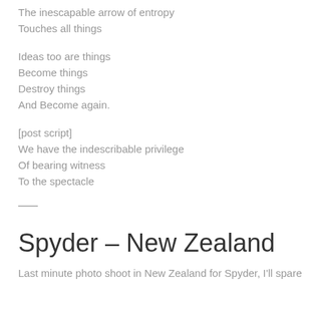The inescapable arrow of entropy
Touches all things
Ideas too are things
Become things
Destroy things
And Become again.
[post script]
We have the indescribable privilege
Of bearing witness
To the spectacle
Spyder – New Zealand
Last minute photo shoot in New Zealand for Spyder, I'll spare